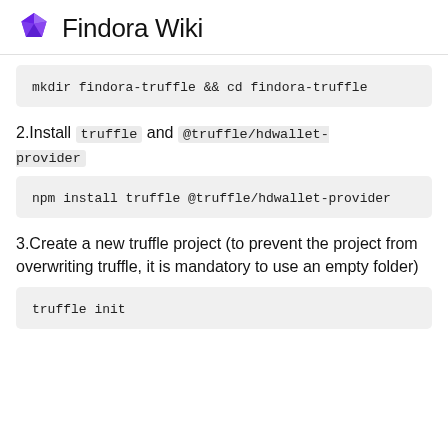Findora Wiki
2.Install truffle and @truffle/hdwallet-provider
3.Create a new truffle project (to prevent the project from overwriting truffle, it is mandatory to use an empty folder)